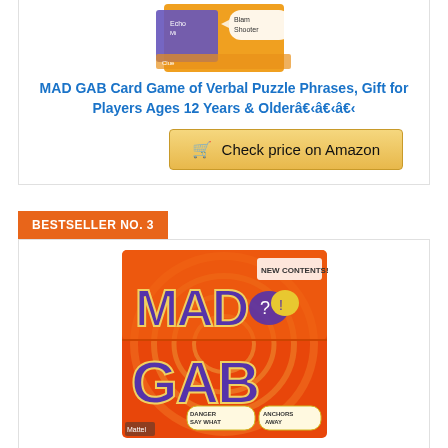[Figure (photo): Top portion of MAD GAB card game product box showing cards with text]
MAD GAB Card Game of Verbal Puzzle Phrases, Gift for Players Ages 12 Years & Olderâ€‹â€‹â€‹
Check price on Amazon
BESTSELLER NO. 3
[Figure (photo): MAD GAB board game box - orange and red swirl design with purple MAD GAB text, speech bubbles with ? and ! marks, new contents label, showing Anchors Away and Danger Say What game modes]